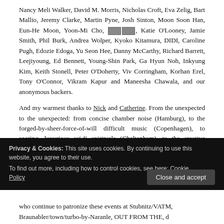Nancy Meli Walker, David M. Morris, Nicholas Croft, Eva Zelig, Bart Mallio, Jeremy Clarke, Martin Pyne, Josh Sinton, Moon Soon Han, Eun-He Moon, Yoon-Mi Cho, [symbols], Katie O'Looney, Jamie Smith, Phil Burk, Andrea Wolper, Kyoko Kitamura, DIDI, Caroline Pugh, Edozie Edoga, Yu Seon Hee, Danny McCarthy, Richard Barrett, Leejiyoung, Ed Bennett, Young-Shin Park, Ga Hyun Noh, Inkyung Kim, Keith Stonell, Peter O'Doherty, Viv Corringham, Korhan Erel, Tony O'Connor, Vikram Kapur and Maneesha Chawala, and our anonymous backers.
And my warmest thanks to Nick and Catherine. From the unexpected to the unexpected: from concise chamber noise (Hamburg), to the forged-by-sheer-force-of-will difficult music (Copenhagen), to soaring, luxurious sci-fi spirituals (Cheltenham), to the creative reexaminations and revisitations (Derby), to the pitch-perfect distillations of discord and
Privacy & Cookies: This site uses cookies. By continuing to use this website, you agree to their use.
To find out more, including how to control cookies, see here: Cookie Policy
who continue to patronize these events at Stubnitz/VATM, Braunabler/town/Turbo-by-Naranle, OUT FROM THE, d